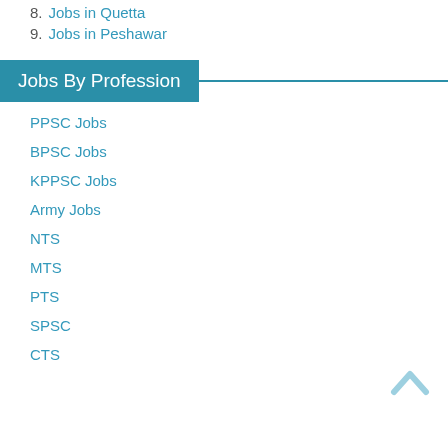8. Jobs in Quetta
9. Jobs in Peshawar
Jobs By Profession
PPSC Jobs
BPSC Jobs
KPPSC Jobs
Army Jobs
NTS
MTS
PTS
SPSC
CTS